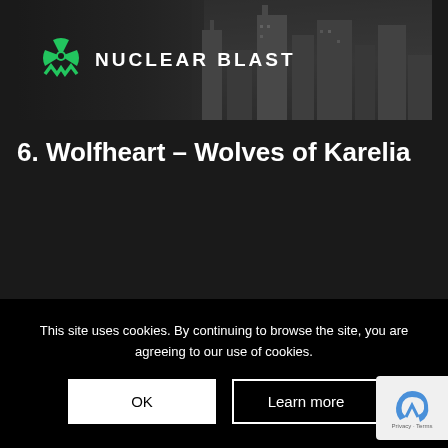[Figure (logo): Nuclear Blast record label banner with logo text and green radioactive symbol, dark city skyline background]
6. Wolfheart – Wolves of Karelia
This site uses cookies. By continuing to browse the site, you are agreeing to our use of cookies.
OK | Learn more